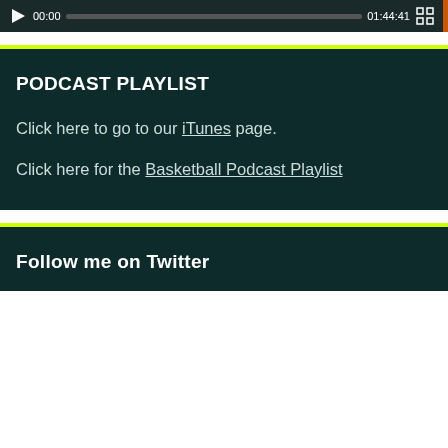[Figure (screenshot): Media player bar showing play button, time 00:00, progress bar, duration 01:44:41, and fullscreen button on dark background]
PODCAST PLAYLIST
Click here to go to our iTunes page.
Click here for the Basketball Podcast Playlist
Follow me on Twitter